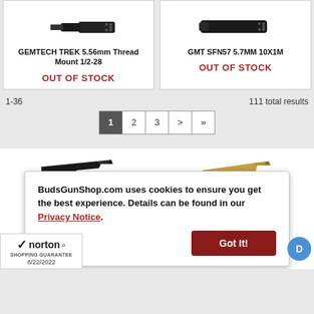GEMTECH TREK 5.56mm Thread Mount 1/2-28
OUT OF STOCK
GMT SFN57 5.7MM 10X1M
OUT OF STOCK
1-36
111 total results
[Figure (screenshot): Pagination bar with pages 1 (active/dark), 2, 3, >, >>]
[Figure (photo): Black semi-automatic pistol photo]
[Figure (photo): Gold/tan colored pistol photo]
BudsGunShop.com uses cookies to ensure you get the best experience. Details can be found in our Privacy Notice.
Got It!
[Figure (logo): Norton Shopping Guarantee badge with checkmark, dated 8/22/2022]